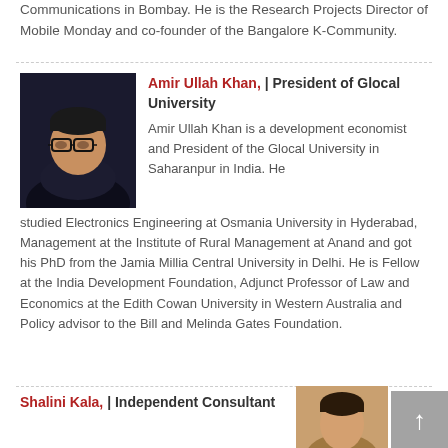Communications in Bombay. He is the Research Projects Director of Mobile Monday and co-founder of the Bangalore K-Community.
Amir Ullah Khan, | President of Glocal University
Amir Ullah Khan is a development economist and President of the Glocal University in Saharanpur in India. He studied Electronics Engineering at Osmania University in Hyderabad, Management at the Institute of Rural Management at Anand and got his PhD from the Jamia Millia Central University in Delhi. He is Fellow at the India Development Foundation, Adjunct Professor of Law and Economics at the Edith Cowan University in Western Australia and Policy advisor to the Bill and Melinda Gates Foundation.
[Figure (photo): Portrait photo of Amir Ullah Khan, a man with glasses against a dark background]
Shalini Kala, | Independent Consultant
[Figure (photo): Partial portrait photo of Shalini Kala]